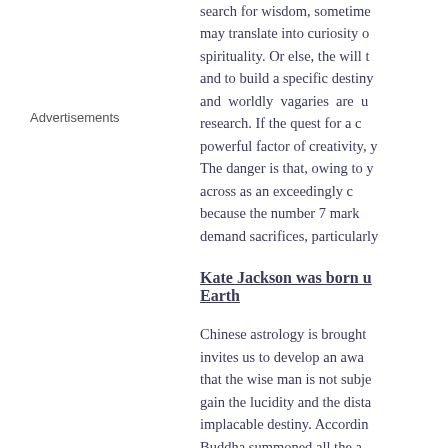search for wisdom, sometimes may translate into curiosity or spirituality. Or else, the will to and to build a specific destiny and worldly vagaries are u research. If the quest for a c powerful factor of creativity, y The danger is that, owing to y across as an exceedingly c because the number 7 mark demand sacrifices, particularly
Advertisements
Kate Jackson was born u Earth
Chinese astrology is brought invites us to develop an awa that the wise man is not subje gain the lucidity and the dista implacable destiny. Accordin Buddha summoned all the a